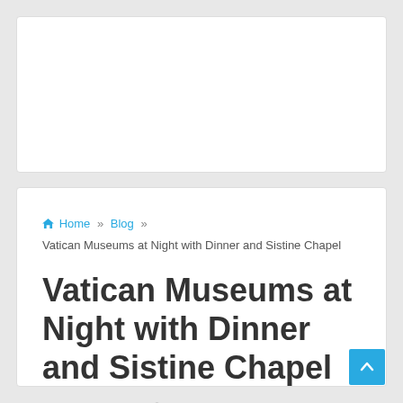Home » Blog » Vatican Museums at Night with Dinner and Sistine Chapel
Vatican Museums at Night with Dinner and Sistine Chapel
editor  Blog  No Comments